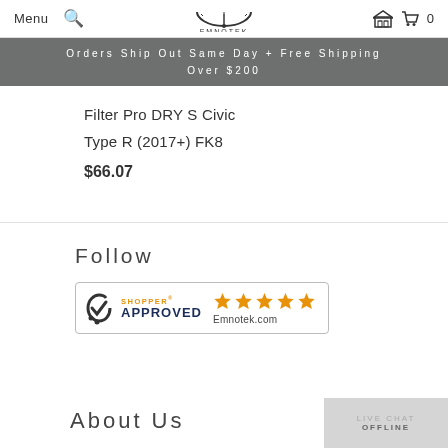Menu  [search icon]  EMNOTEK  [garage icon]  [cart icon] 0
Orders Ship Out Same Day + Free Shipping Over $200
Filter Pro DRY S Civic
Type R (2017+) FK8
$66.07
Follow
[Figure (logo): Shopper Approved badge with 5 orange stars and site name Emnotek.com]
About Us
LIVE CHAT OFFLINE